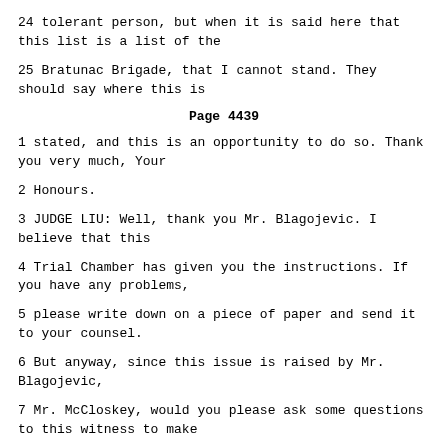24 tolerant person, but when it is said here that this list is a list of the
25 Bratunac Brigade, that I cannot stand. They should say where this is
Page 4439
1 stated, and this is an opportunity to do so. Thank you very much, Your
2 Honours.
3 JUDGE LIU: Well, thank you Mr. Blagojevic. I believe that this
4 Trial Chamber has given you the instructions. If you have any problems,
5 please write down on a piece of paper and send it to your counsel.
6 But anyway, since this issue is raised by Mr. Blagojevic,
7 Mr. McCloskey, would you please ask some questions to this witness to make
8 it clear.
9 MR. McCLOSKEY: Yes, Mr. President.